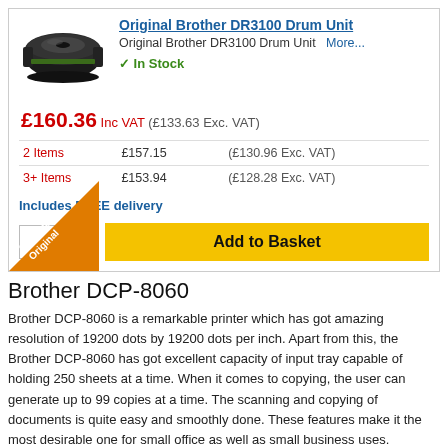[Figure (photo): Black Brother DR3100 drum unit toner cartridge product image]
Original Brother DR3100 Drum Unit
Original Brother DR3100 Drum Unit  More...
✓ In Stock
£160.36 Inc VAT (£133.63 Exc. VAT)
| 2 Items | £157.15 | (£130.96 Exc. VAT) |
| 3+ Items | £153.94 | (£128.28 Exc. VAT) |
Includes FREE delivery
[Figure (illustration): Genuine Original orange corner badge]
1 ▼   Add to Basket
Brother DCP-8060
Brother DCP-8060 is a remarkable printer which has got amazing resolution of 19200 dots by 19200 dots per inch. Apart from this, the Brother DCP-8060 has got excellent capacity of input tray capable of holding 250 sheets at a time. When it comes to copying, the user can generate up to 99 copies at a time. The scanning and copying of documents is quite easy and smoothly done. These features make it the most desirable one for small office as well as small business uses.